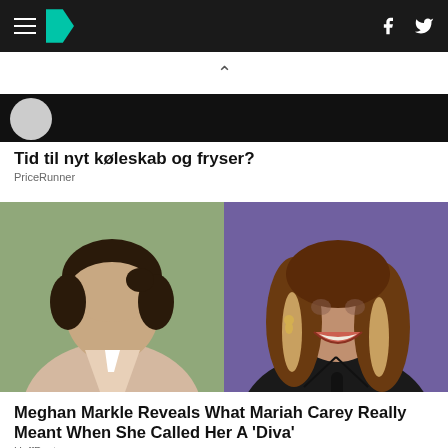HuffPost navigation header with hamburger menu, logo, Facebook and Twitter icons
[Figure (other): Upward chevron/caret icon indicating collapse or scroll up]
[Figure (other): Dark advertisement banner with circular avatar]
Tid til nyt køleskab og fryser?
PriceRunner
[Figure (photo): Split photo showing Meghan Markle on the left against a green background, and Mariah Carey on the right against a purple background at a speaking event]
Meghan Markle Reveals What Mariah Carey Really Meant When She Called Her A 'Diva'
HuffPost